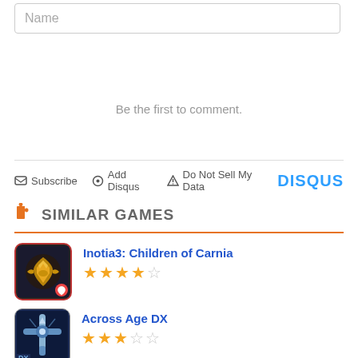Name
Be the first to comment.
Subscribe  Add Disqus  Do Not Sell My Data  DISQUS
SIMILAR GAMES
Inotia3: Children of Carnia
[Figure (other): Star rating: 3.5 out of 5 stars]
Across Age DX
[Figure (other): Star rating: 3 out of 5 stars]